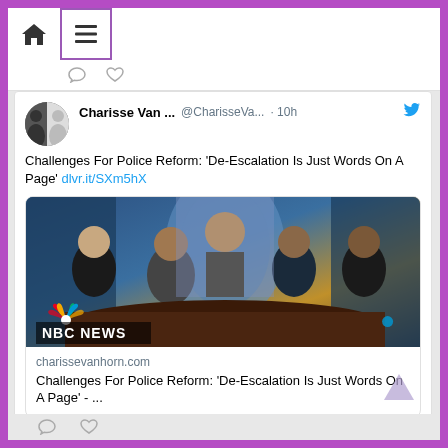Navigation bar with home and menu icons
[Figure (screenshot): Twitter/social media screenshot showing a tweet by Charisse Van... @CharisseVa... · 10h about 'Challenges For Police Reform: De-Escalation Is Just Words On A Page' with link dlvr.it/SXm5hX and an NBC News link preview card showing a TV panel discussion image from charissevanhorn.com]
Charisse Van ... @CharisseVa... · 10h
Challenges For Police Reform: 'De-Escalation Is Just Words On A Page' dlvr.it/SXm5hX
charissevanhorn.com
Challenges For Police Reform: 'De-Escalation Is Just Words On A Page' - ...